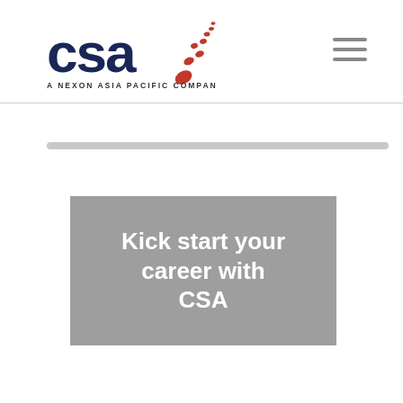[Figure (logo): CSA logo with text 'A NEXON ASIA PACIFIC COMPANY' — dark navy blue CSA lettering with red dot pattern]
[Figure (infographic): Hamburger menu icon (three horizontal lines) in gray]
[Figure (infographic): Gray horizontal progress/slider bar]
Kick start your career with CSA